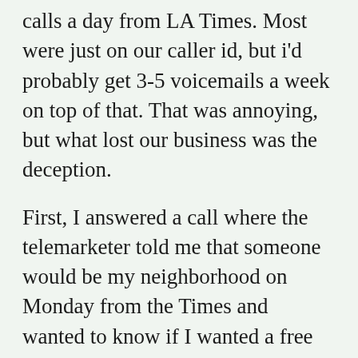calls a day from LA Times. Most were just on our caller id, but i'd probably get 3-5 voicemails a week on top of that. That was annoying, but what lost our business was the deception.

First, I answered a call where the telemarketer told me that someone would be my neighborhood on Monday from the Times and wanted to know if I wanted a free paper. I said sure, why not. Then he said, ok, let me put you on hold.